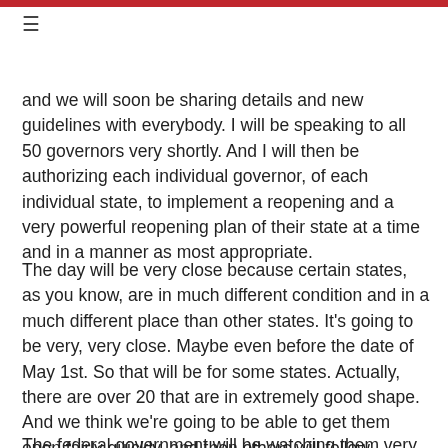≡
and we will soon be sharing details and new guidelines with everybody.  I will be speaking to all 50 governors very shortly.  And I will then be authorizing each individual governor, of each individual state, to implement a reopening and a very powerful reopening plan of their state at a time and in a manner as most appropriate.
The day will be very close because certain states, as you know, are in much different condition and in a much different place than other states.  It's going to be very, very close.  Maybe even before the date of May 1st.  So that will be for some states.  Actually, there are over 20 that are in extremely good shape.  And we think we're going to be able to get them open fairly quickly, and then others will follow.
The federal government will be watching them very closely,